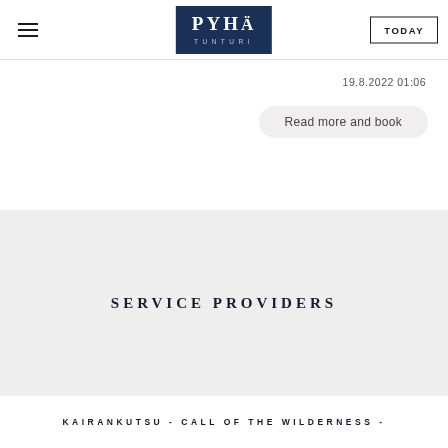Pyhä Tunturi — TODAY
19.8.2022 01:06
Read more and book
SERVICE PROVIDERS
KAIRANKUTSU - CALL OF THE WILDERNESS -